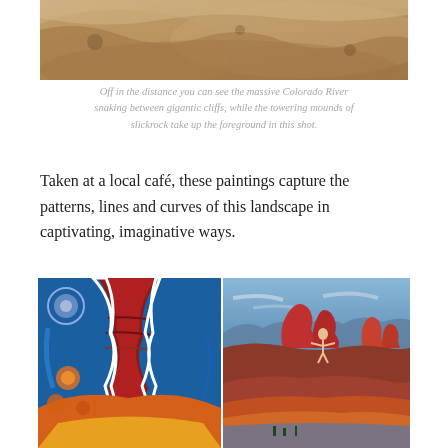[Figure (photo): Partial view of sandy, rocky terrain — Colorado River landscape, slickrock formations in tan/brown tones, cropped at top of page]
Off in the distance you can see the massive Colorado River snaking between gigantic cliffs, while the towering mounds of slickrock take up the foreground in this shot.
Taken at a local café, these paintings capture the patterns, lines and curves of this landscape in captivating, imaginative ways.
[Figure (photo): Left painting: colorful abstract expressionist artwork of canyon landscape with swirling patterns in red, orange, yellow, blue tones]
[Figure (photo): Right painting: naturalistic painting of Grand Canyon-like landscape with red rock formations, blue sky, figure with arms raised, warm and cool color contrasts]